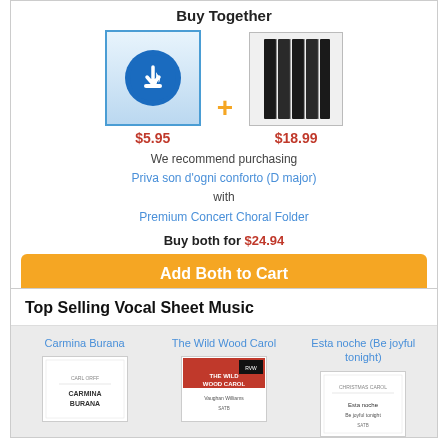Buy Together
[Figure (illustration): Digital download icon with blue download arrow on gradient background, price $5.95]
[Figure (photo): Black premium concert choral folder, price $18.99]
We recommend purchasing Priva son d'ogni conforto (D major) with Premium Concert Choral Folder
Buy both for $24.94
Add Both to Cart
Top Selling Vocal Sheet Music
Carmina Burana
The Wild Wood Carol
Esta noche (Be joyful tonight)